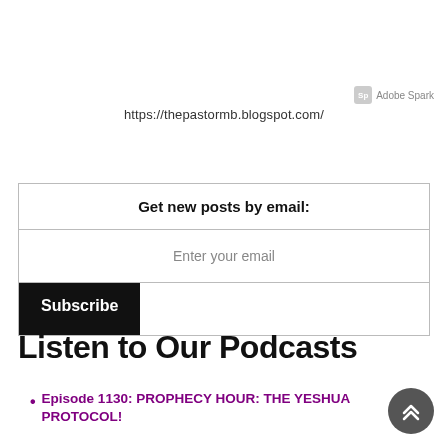[Figure (logo): Adobe Spark logo badge with text 'Adobe Spark' in top right corner]
https://thepastormb.blogspot.com/
| Get new posts by email: |
| Enter your email |
| Subscribe |
Listen to Our Podcasts
Episode 1130: PROPHECY HOUR: THE YESHUA PROTOCOL!